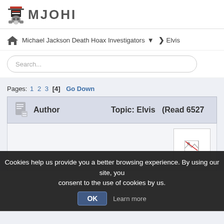MJOHI
Michael Jackson Death Hoax Investigators ▾ ❯ Elvis
Search...
Pages: 1 2 3 [4]  Go Down
| Author | Topic: Elvis  (Read 6527 |
| --- | --- |
[Figure (screenshot): Broken image placeholder in post area]
Cookies help us provide you a better browsing experience. By using our site, you consent to the use of cookies by us.  OK  Learn more